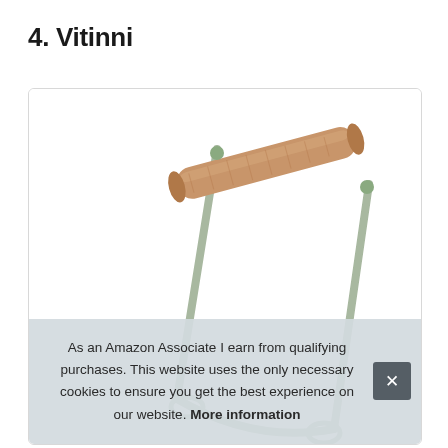4. Vitinni
[Figure (photo): A pasta/dough cutter or pastry blender tool tilted at an angle, featuring a light sage-green metal frame with two handles and a cylindrical wooden handle/roller across the top. White background inside a rounded rectangle card.]
As an Amazon Associate I earn from qualifying purchases. This website uses the only necessary cookies to ensure you get the best experience on our website. More information